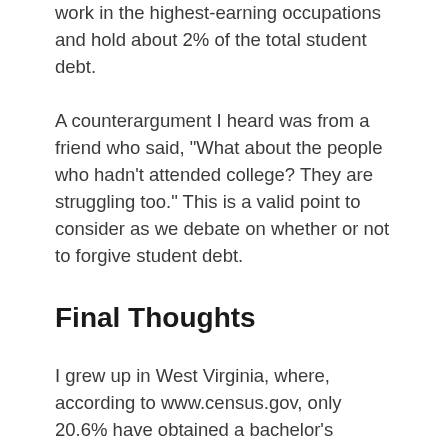work in the highest-earning occupations and hold about 2% of the total student debt.
A counterargument I heard was from a friend who said, "What about the people who hadn't attended college? They are struggling too." This is a valid point to consider as we debate on whether or not to forgive student debt.
Final Thoughts
I grew up in West Virginia, where, according to www.census.gov, only 20.6% have obtained a bachelor's degree or higher. It is hard to explain to my family and friends, especially those of low-income households, why the government should spend $1.7 trillion to